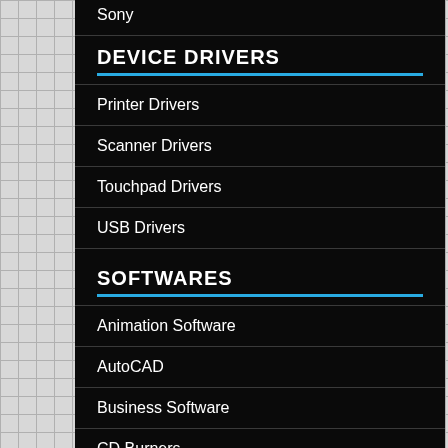Sony
DEVICE DRIVERS
Printer Drivers
Scanner Drivers
Touchpad Drivers
USB Drivers
SOFTWARES
Animation Software
AutoCAD
Business Software
CD Burners
CRM Software